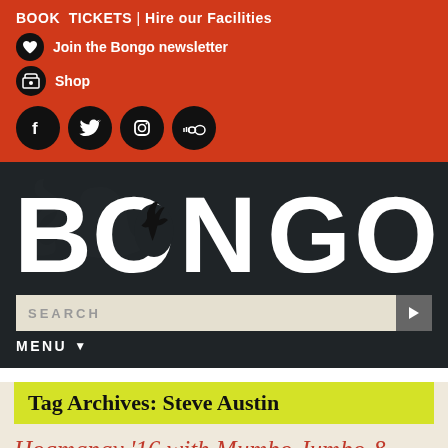BOOK TICKETS | Hire our Facilities
Join the Bongo newsletter
Shop
[Figure (logo): BONGO logo in large white bold text on dark background with antelope logo inside the O]
SEARCH
MENU
Tag Archives: Steve Austin
Hogmanay '16 with Mumbo Jumbo &